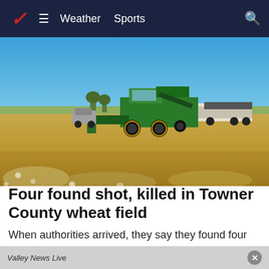Weather  Sports
[Figure (photo): A green John Deere combine harvester working in a golden wheat field under a clear blue sky, with a grain truck nearby.]
Four found shot, killed in Towner County wheat field
When authorities arrived, they say they found four people shot dead.
Valley News Live